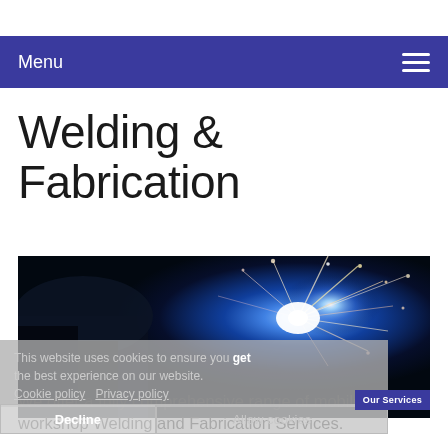Menu
Welding & Fabrication
[Figure (photo): Close-up photo of welding sparks in dark blue tones, metal being welded with bright electric arc and sparks flying]
This website uses cookies to ensure you get the best experience on our website. Cookie policy  Privacy policy
Decline  Allow cookies
We offer a fully comprehensive range of mobile and workshop Welding and Fabrication Services.